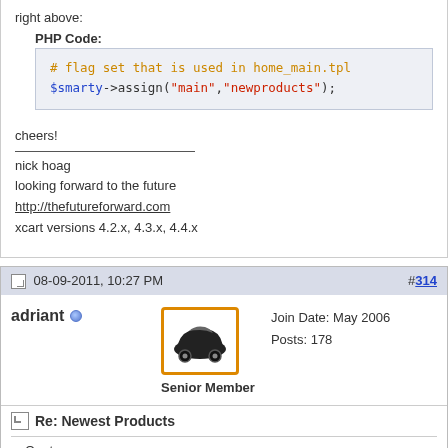right above:
PHP Code:
# flag set that is used in home_main.tpl
$smarty->assign("main","newproducts");
cheers!
nick hoag
looking forward to the future
http://thefutureforward.com
xcart versions 4.2.x, 4.3.x, 4.4.x
08-09-2011, 10:27 PM
#314
adriant
[Figure (illustration): Car avatar image inside orange-bordered box, labeled Senior Member]
Join Date: May 2006
Posts: 178
Re: Newest Products
Quote: